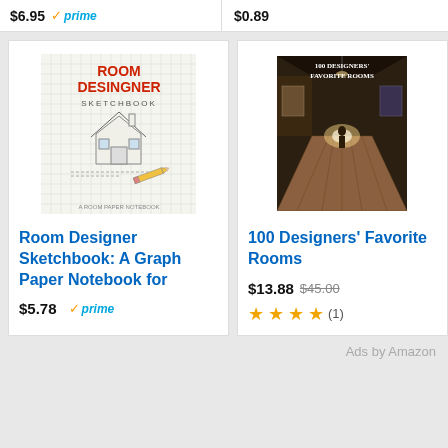$6.95 prime
$0.89
[Figure (illustration): Room Designer Sketchbook book cover with graph paper background, red title text, house sketch and pencil]
Room Designer Sketchbook: A Graph Paper Notebook for
$5.78 prime
[Figure (illustration): 100 Designers' Favorite Rooms book cover with dark hallway interior photo]
100 Designers' Favorite Rooms
$13.88 $45.00
★★★★ (1)
Ads by Amazon